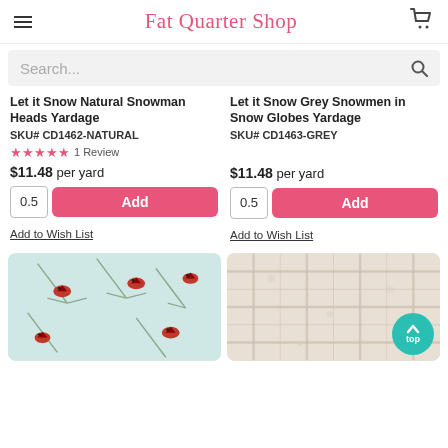Fat Quarter Shop
Search...
Let it Snow Natural Snowman Heads Yardage
SKU# CD1462-NATURAL
★★★★★ 1 Review
$11.48 per yard
0.5 Add
Add to Wish List
Let it Snow Grey Snowmen in Snow Globes Yardage
SKU# CD1463-GREY
$11.48 per yard
0.5 Add
Add to Wish List
[Figure (photo): Fabric with red cardinals and pine branches on light blue/grey background]
[Figure (photo): Cream/tan plaid fabric with subtle snowflake texture]